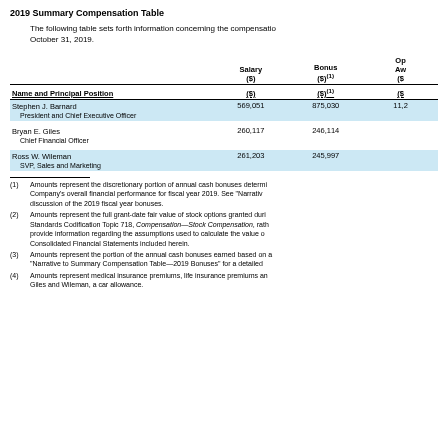2019 Summary Compensation Table
The following table sets forth information concerning the compensation paid to our named executive officers for the fiscal year ended October 31, 2019.
| Name and Principal Position | Salary ($) | Bonus ($)(1) | Option Awards ($)(2) |
| --- | --- | --- | --- |
| Stephen J. Barnard
  President and Chief Executive Officer | 569,051 | 875,030 | 11,2... |
| Bryan E. Giles
  Chief Financial Officer | 260,117 | 246,114 |  |
| Ross W. Wileman
  SVP, Sales and Marketing | 261,203 | 245,997 |  |
(1) Amounts represent the discretionary portion of annual cash bonuses determined based on the Company's overall financial performance for fiscal year 2019. See "Narrative to Summary Compensation Table" for a detailed discussion of the 2019 fiscal year bonuses.
(2) Amounts represent the full grant-date fair value of stock options granted during fiscal year 2019, computed in accordance with Financial Accounting Standards Codification Topic 718, Compensation—Stock Compensation, rather than the amounts paid to or realized by the named executive officers. We provide information regarding the assumptions used to calculate the value of all option awards made to executive officers in the Notes to the Consolidated Financial Statements included herein.
(3) Amounts represent the portion of the annual cash bonuses earned based on achievement of individual performance goals. See "Narrative to Summary Compensation Table—2019 Bonuses" for a detailed discussion of the 2019 fiscal year bonuses.
(4) Amounts represent medical insurance premiums, life insurance premiums and, for Giles and Wileman, a car allowance.